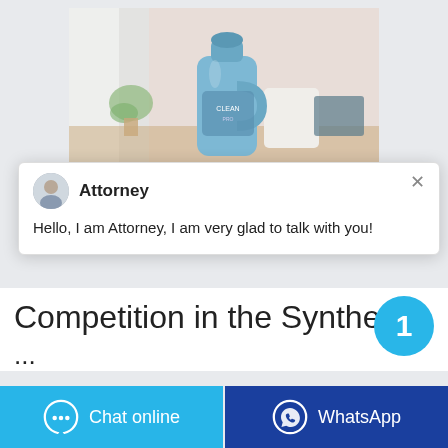[Figure (photo): A blue laundry detergent bottle photographed in a home setting with a plant and other household items in the background]
Attorney
Hello, I am Attorney, I am very glad to talk with you!
Competition in the Syntheti...
...
Chat online
WhatsApp